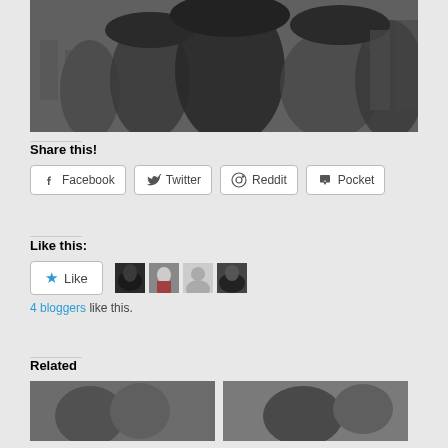[Figure (photo): Black and white photograph showing a crowd of people, some wearing hats, blurry motion in a street scene]
Share this!
[Figure (infographic): Share buttons row: Facebook, Twitter, Reddit, Pocket]
Like this:
[Figure (infographic): Like button with blue star, followed by 4 blogger avatar thumbnails]
4 bloggers like this.
Related
[Figure (photo): Two related black and white photo thumbnails at bottom of page]